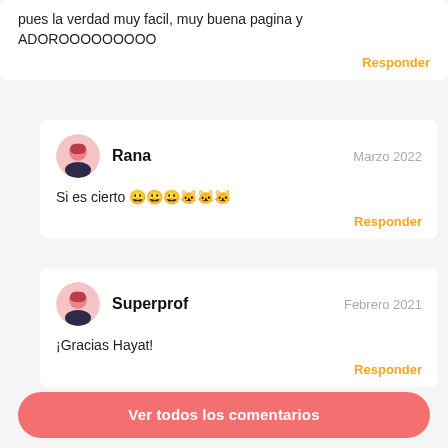pues la verdad muy facil, muy buena pagina y ADOROOOOOOOOO
Responder
Rana  Marzo 2022
Si es cierto 😀😀😀🐱🐱🐱
Responder
Superprof  Febrero 2021
¡Gracias Hayat!
Responder
Ver todos los comentarios